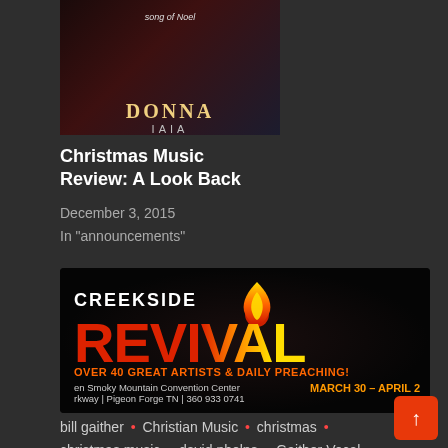[Figure (photo): Album cover thumbnail for Donna Noel Christmas music]
Christmas Music Review: A Look Back
December 3, 2015
In "announcements"
[Figure (infographic): Creekside Revival advertisement banner: OVER 40 GREAT ARTISTS & DAILY PREACHING! en Smoky Mountain Convention Center rkway | Pigeon Forge TN | 360 933 0741, MARCH 30 - APRIL 2]
bill gaither • Christian Music • christmas • christmas music • david phelps • Gaither Vocal Band • gospel music • John Herndon • SGNScoops Magazine